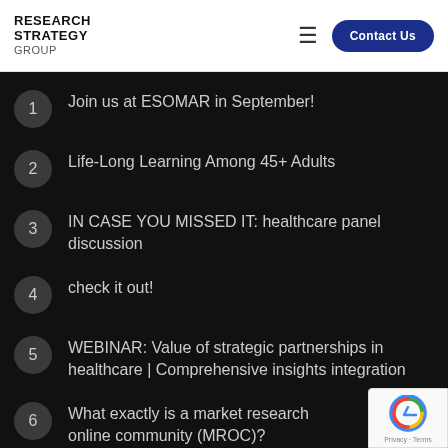RESEARCH STRATEGY GROUP | Contact Us
Join us at ESOMAR in September!
Life-Long Learning Among 45+ Adults
IN CASE YOU MISSED IT: healthcare panel discussion
check it out!
WEBINAR: Value of strategic partnerships in healthcare | Comprehensive insights integration
What exactly is a market research online community (MROC)?